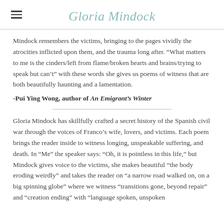Gloria Mindock
Mindock remembers the victims, bringing to the pages vividly the atrocities inflicted upon them, and the trauma long after. “What matters to me is the cinders/left from flame/broken hearts and brains/trying to speak but can’t” with these words she gives us poems of witness that are both beautifully haunting and a lamentation.
-Pui Ying Wong, author of An Emigrant’s Winter
Gloria Mindock has skillfully crafted a secret history of the Spanish civil war through the voices of Franco’s wife, lovers, and victims. Each poem brings the reader inside to witness longing, unspeakable suffering, and death. In “Me” the speaker says: “Oh, it is pointless in this life,” but Mindock gives voice to the victims, she makes beautiful “the body eroding weirdly” and takes the reader on “a narrow road walked on, on a big spinning globe” where we witness “transitions gone, beyond repair” and “creation ending” with “language spoken, unspoken